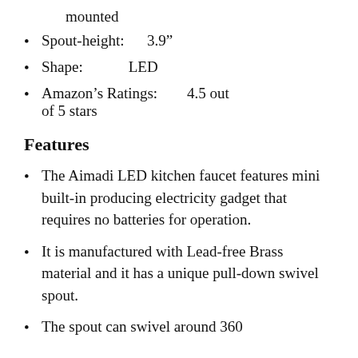mounted
Spout-height:    3.9"
Shape:    LED
Amazon’s Ratings:    4.5 out of 5 stars
Features
The Aimadi LED kitchen faucet features mini built-in producing electricity gadget that requires no batteries for operation.
It is manufactured with Lead-free Brass material and it has a unique pull-down swivel spout.
The spout can swivel around 360